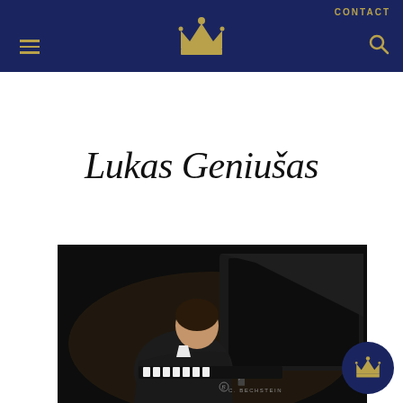CONTACT
[Figure (logo): Bechstein crown logo centered in navy header bar]
Lukas Geniušas
[Figure (photo): Lukas Geniušas playing a C. Bechstein grand piano on a dark stage, wearing a black suit, leaning over the piano keys intently]